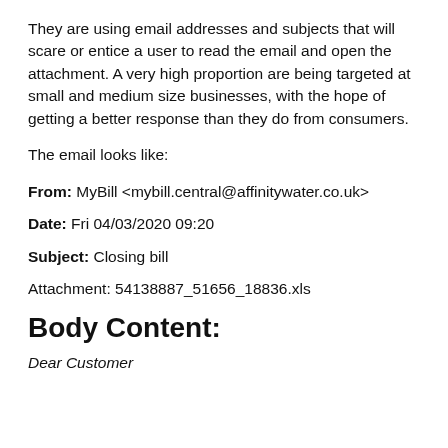They are using email addresses and subjects that will scare or entice a user to read the email and open the attachment. A very high proportion are being targeted at small and medium size businesses, with the hope of getting a better response than they do from consumers.
The email looks like:
From: MyBill <mybill.central@affinitywater.co.uk>
Date: Fri 04/03/2020 09:20
Subject: Closing bill
Attachment: 54138887_51656_18836.xls
Body Content:
Dear Customer